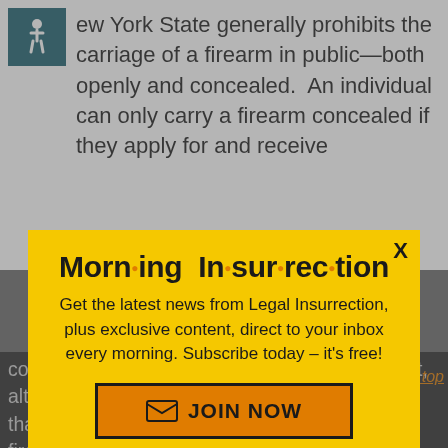ew York State generally prohibits the carriage of a firearm in public—both openly and concealed.  An individual can only carry a firearm concealed if they apply for and receive
[Figure (infographic): Modal popup advertisement for 'Morning Insurrection' newsletter with yellow background, close X button, title text with orange bullet dots, subscription message, and orange JOIN NOW button]
convicted of a felony or serious offense. This list, although long, is fairly standard among states that require citizens to get a permit to carry a firearm concealed.